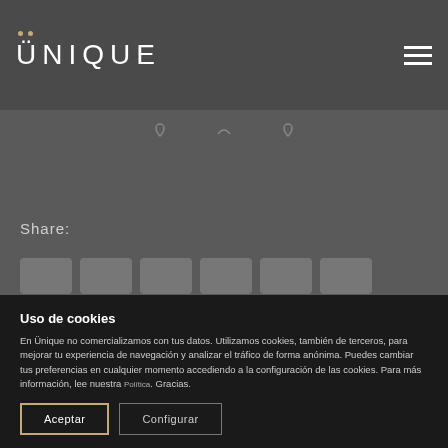ÜNIQUE
Share:
[Figure (screenshot): Row of social media share buttons (partially visible)]
Uso de cookies
En Ünique no comercializamos con tus datos. Utilizamos cookies, también de terceros, para mejorar tu experiencia de navegación y analizar el tráfico de forma anónima. Puedes cambiar tus preferencias en cualquier momento accediendo a la configuración de las cookies. Para más información, lee nuestra Política. Gracias.
Aceptar | Configurar